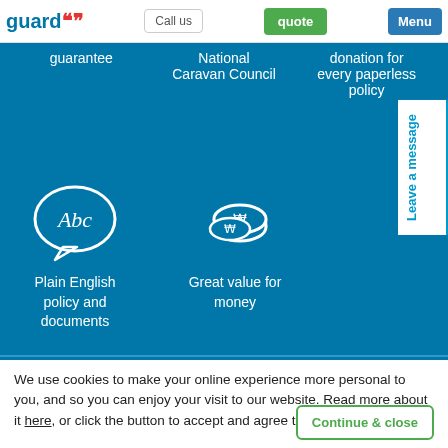guard | Call us | quote | Menu
guarantee
National Caravan Council
donation for every paperless policy
[Figure (illustration): Speech bubble icon with 'Abc' text (plain English icon)]
[Figure (illustration): Coins icon (great value for money)]
Plain English policy and documents
Great value for money
We use cookies to make your online experience more personal to you, and so you can enjoy your visit to our website. Read more about it here, or click the button to accept and agree to our use of cookies.
Continue & close